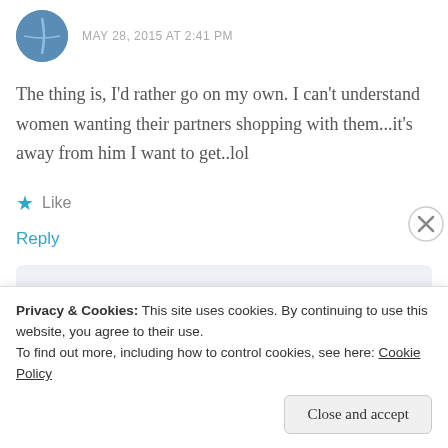MAY 28, 2015 AT 2:41 PM
The thing is, I'd rather go on my own. I can't understand women wanting their partners shopping with them...it's away from him I want to get..lol
★ Like
Reply
[Figure (infographic): GET THE APP banner with WordPress logo icon]
Privacy & Cookies: This site uses cookies. By continuing to use this website, you agree to their use. To find out more, including how to control cookies, see here: Cookie Policy
Close and accept